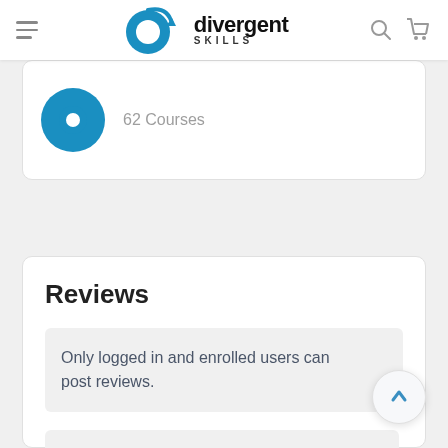divergent SKILLS — navigation bar with menu icon, logo, search and cart icons
[Figure (logo): Divergent Skills logo with circular 'd' icon in blue and text 'divergent SKILLS']
62 Courses
Reviews
Only logged in and enrolled users can post reviews.